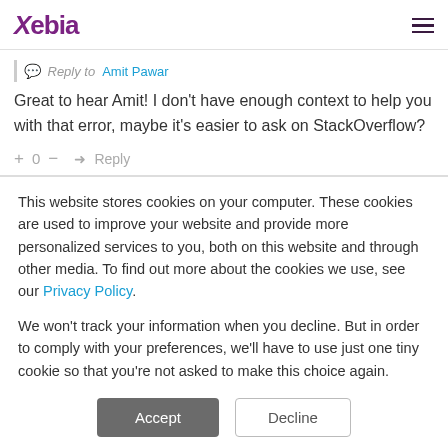Xebia
Reply to Amit Pawar
Great to hear Amit! I don't have enough context to help you with that error, maybe it's easier to ask on StackOverflow?
+ 0 − Reply
This website stores cookies on your computer. These cookies are used to improve your website and provide more personalized services to you, both on this website and through other media. To find out more about the cookies we use, see our Privacy Policy.
We won't track your information when you decline. But in order to comply with your preferences, we'll have to use just one tiny cookie so that you're not asked to make this choice again.
Accept   Decline